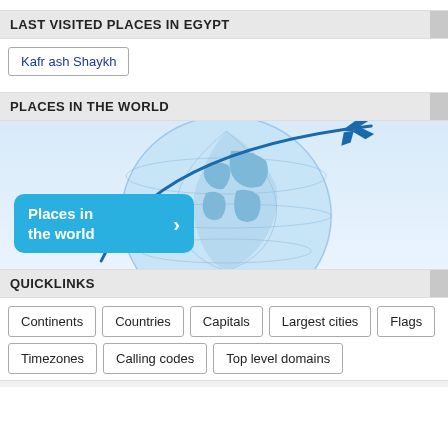LAST VISITED PLACES IN EGYPT
Kafr ash Shaykh
PLACES IN THE WORLD
[Figure (illustration): Globe with airplane flying around it and a blue arc trajectory, with a button overlay reading 'Places in the world']
QUICKLINKS
Continents
Countries
Capitals
Largest cities
Flags
Timezones
Calling codes
Top level domains